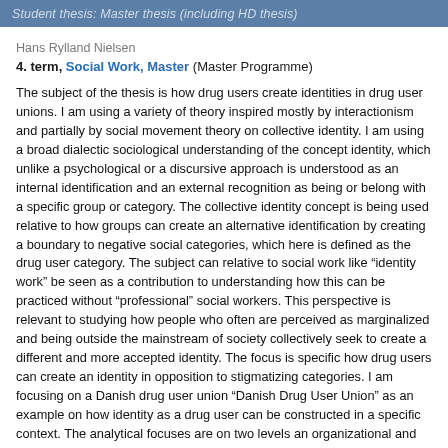Student thesis: Master thesis (including HD thesis)
Hans Rylland Nielsen
4. term, Social Work, Master (Master Programme)
The subject of the thesis is how drug users create identities in drug user unions. I am using a variety of theory inspired mostly by interactionism and partially by social movement theory on collective identity. I am using a broad dialectic sociological understanding of the concept identity, which unlike a psychological or a discursive approach is understood as an internal identification and an external recognition as being or belong with a specific group or category. The collective identity concept is being used relative to how groups can create an alternative identification by creating a boundary to negative social categories, which here is defined as the drug user category. The subject can relative to social work like “identity work” be seen as a contribution to understanding how this can be practiced without “professional” social workers. This perspective is relevant to studying how people who often are perceived as marginalized and being outside the mainstream of society collectively seek to create a different and more accepted identity. The focus is specific how drug users can create an identity in opposition to stigmatizing categories. I am focusing on a Danish drug user union “Danish Drug User Union” as an example on how identity as a drug user can be constructed in a specific context. The analytical focuses are on two levels an organizational and an individual member level. For this I have used qualitative empirical data like documents from the user unions’ website, an evaluation and an article about the